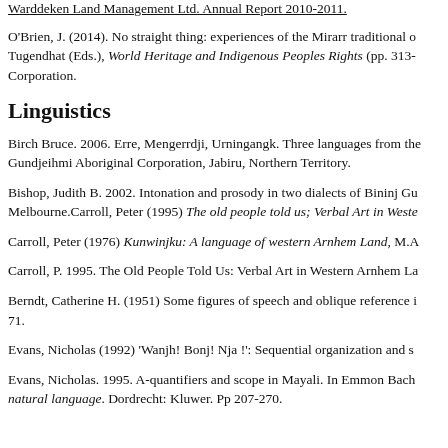Warddeken Land Management Ltd. Annual Report 2010-2011.
O'Brien, J. (2014). No straight thing: experiences of the Mirarr traditional o... Tugendhat (Eds.), World Heritage and Indigenous Peoples Rights (pp. 313-... Corporation.
Linguistics
Birch Bruce. 2006. Erre, Mengerrdji, Urningangk. Three languages from th... Gundjeihmi Aboriginal Corporation, Jabiru, Northern Territory.
Bishop, Judith B. 2002. Intonation and prosody in two dialects of Bininj Gu... Melbourne.Carroll, Peter (1995) The old people told us; Verbal Art in Weste...
Carroll, Peter (1976) Kunwinjku: A language of western Arnhem Land, M.A...
Carroll, P. 1995. The Old People Told Us: Verbal Art in Western Arnhem La...
Berndt, Catherine H. (1951) Some figures of speech and oblique reference i... 71.
Evans, Nicholas (1992) 'Wanjh! Bonj! Nja !': Sequential organization and s...
Evans, Nicholas. 1995. A-quantifiers and scope in Mayali. In Emmon Bach... natural language. Dordrecht: Kluwer. Pp 207-270.